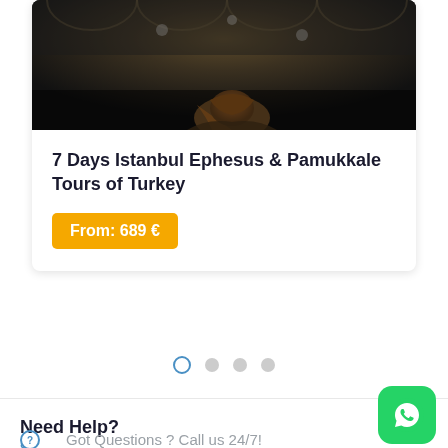[Figure (photo): Photo of a mosque interior with a person in a headscarf viewed from behind, dark atmospheric tones]
7 Days Istanbul Ephesus & Pamukkale Tours of Turkey
From: 689 €
[Figure (infographic): Carousel pagination dots — one active (open circle) and three inactive (filled gray)]
Need Help?
Got Questions ? Call us 24/7!
[Figure (logo): WhatsApp green button icon in bottom right corner]